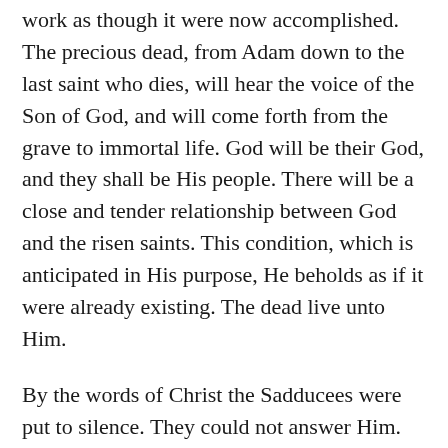work as though it were now accomplished. The precious dead, from Adam down to the last saint who dies, will hear the voice of the Son of God, and will come forth from the grave to immortal life. God will be their God, and they shall be His people. There will be a close and tender relationship between God and the risen saints. This condition, which is anticipated in His purpose, He beholds as if it were already existing. The dead live unto Him.
By the words of Christ the Sadducees were put to silence. They could not answer Him. Not a word had been spoken of which the least advantage could be taken for His condemnation. His adversaries had gained nothing but the contempt of the people.
The Pharisees, however, did not yet despair of driving Him to speak that which they could use against Him. They prevailed upon a certain learned